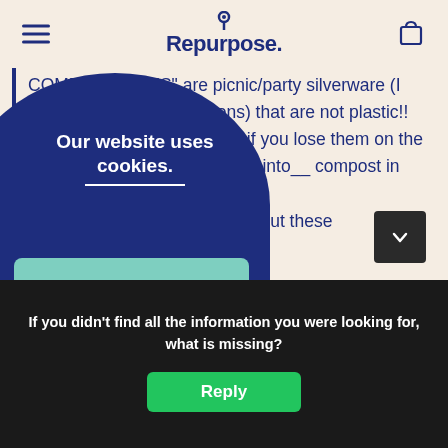Repurpose.
COMPOSTABLES" are picnic/party silverware (I tried the ultra strong spoons) that are not plastic!! They are made of Plants so if you lose them on the way to the trashcan, they turn into__ compost in no... a couple of years-NOT ... my fam about these
this product
Our website uses cookies.
If you didn't find all the information you were looking for, what is missing?
Reply